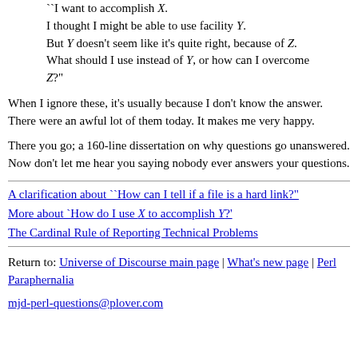"I want to accomplish X. I thought I might be able to use facility Y. But Y doesn't seem like it's quite right, because of Z. What should I use instead of Y, or how can I overcome Z?"
When I ignore these, it's usually because I don't know the answer. There were an awful lot of them today. It makes me very happy.
There you go; a 160-line dissertation on why questions go unanswered. Now don't let me hear you saying nobody ever answers your questions.
A clarification about ``How can I tell if a file is a hard link?"
More about `How do I use X to accomplish Y?'
The Cardinal Rule of Reporting Technical Problems
Return to: Universe of Discourse main page | What's new page | Perl Paraphernalia
mjd-perl-questions@plover.com